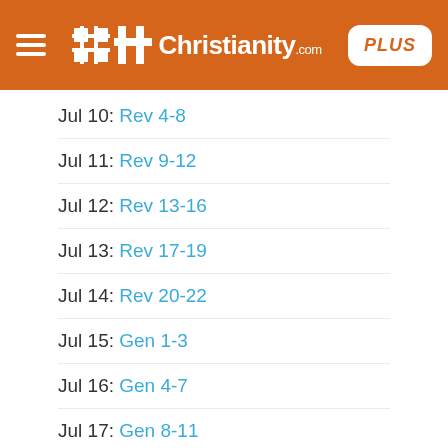Christianity.com PLUS
Jul 10: Rev 4-8
Jul 11: Rev 9-12
Jul 12: Rev 13-16
Jul 13: Rev 17-19
Jul 14: Rev 20-22
Jul 15: Gen 1-3
Jul 16: Gen 4-7
Jul 17: Gen 8-11
Jul 18: Gen 12-15
Jul 19: Gen 16-18
Jul 20: Gen 19-21
Jul 21: Gen 22-24
Jul 22: Gen 25-26...